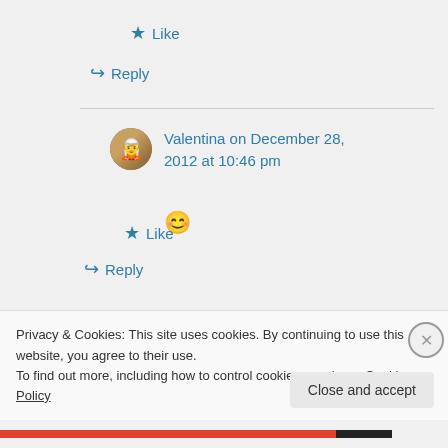★ Like
↪ Reply
Valentina on December 28, 2012 at 10:46 pm
😊
★ Like
↪ Reply
Privacy & Cookies: This site uses cookies. By continuing to use this website, you agree to their use.
To find out more, including how to control cookies, see here: Cookie Policy
Close and accept